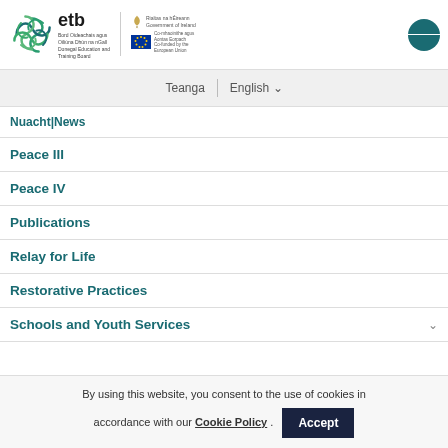[Figure (logo): ETB (Donegal Education and Training Board) logo with spiral graphic, divider, Government of Ireland harp logo, and EU co-funded flag logo]
Teanga | English
Nuacht|News
Peace III
Peace IV
Publications
Relay for Life
Restorative Practices
Schools and Youth Services
By using this website, you consent to the use of cookies in accordance with our Cookie Policy . Accept